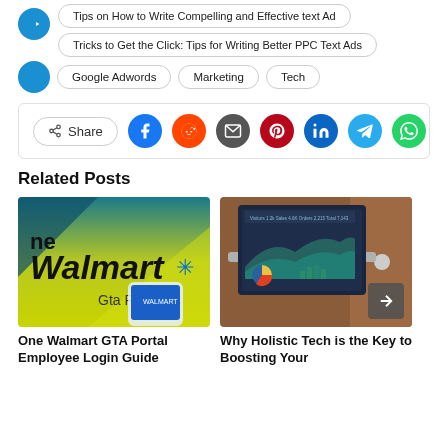Tips on How to Write Compelling and Effective text Ad
Tricks to Get the Click: Tips for Writing Better PPC Text Ads
Google Adwords · Marketing · Tech
[Figure (other): Social share bar with Share button and social media icons: Facebook, Reddit, Email, Pinterest, LinkedIn, Telegram, WhatsApp]
Related Posts
[Figure (photo): Walmart One GTA Portal promotional image with yellow-green background and phone]
One Walmart GTA Portal Employee Login Guide
[Figure (photo): Laptop screen showing analytics dashboard with charts and graphs]
Why Holistic Tech is the Key to Boosting Your